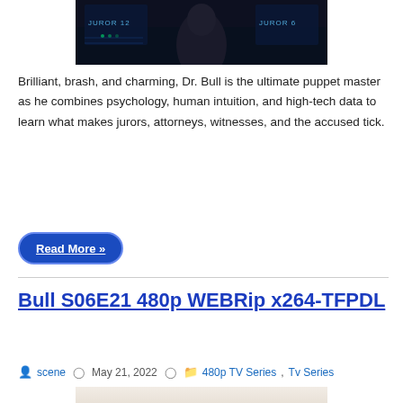[Figure (photo): Dark courtroom scene with silhouette figure and 'JUROR 12' and 'JUROR' labels on screen displays]
Brilliant, brash, and charming, Dr. Bull is the ultimate puppet master as he combines psychology, human intuition, and high-tech data to learn what makes jurors, attorneys, witnesses, and the accused tick.
Read More »
Bull S06E21 480p WEBRip x264-TFPDL
scene   May 21, 2022   480p TV Series, Tv Series
[Figure (photo): Bull TV series poster showing the word BULL in large red letters]